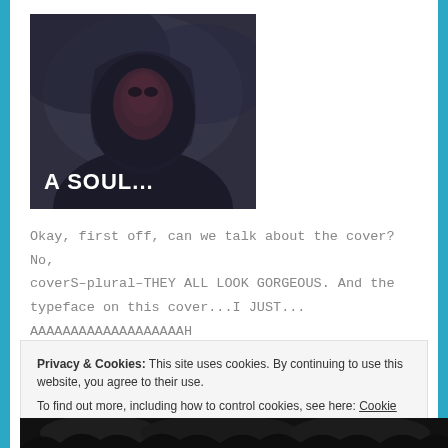[Figure (photo): Dark, moody image of a hooded figure with reddish facial markings. White bold text overlay reads 'A SOUL...' at the bottom left of the image.]
Okay, first off, can we talk about the cover? No, coverS-plural-THEY ALL LOOK GORGEOUS. And the typeface on this cover...I JUST...
AAAAAAAAAAAAAAAAAAAAH
Privacy & Cookies: This site uses cookies. By continuing to use this website, you agree to their use.
To find out more, including how to control cookies, see here: Cookie Policy
[Figure (photo): Partial view of bottom image strip showing dark crowd or group of people.]